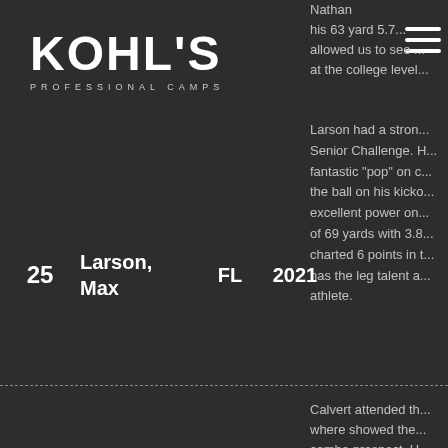[Figure (logo): Kohl's Professional Camps logo — bold white text on dark background with subtitle 'PROFESSIONAL CAMPS']
Nathan ... his 63 yard 5.7... allowed us to see ... at the college level...
Larson had a stro... Senior Challenge. H... fantastic "pop" on c... the ball on his kicko... excellent power on... of 69 yards with 3.8... charted 6 points in t... has the leg talent a... athlete.
| # | Name | State | Year |
| --- | --- | --- | --- |
| 25 | Larson, Max | FL | 2021 |
| 26 | Calvert, Jake | IA | 2021 |
Calvert attended th... where showed the... combo prospect. H... score of 98.7 points... yards. Calvert is an... looking to have a g... phases.